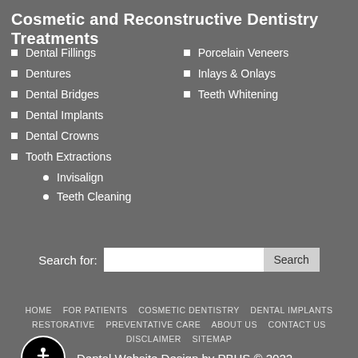Cosmetic and Reconstructive Dentistry Treatments
Dental Fillings
Dentures
Dental Bridges
Dental Implants
Dental Crowns
Tooth Extractions
Porcelain Veneers
Inlays & Onlays
Teeth Whitening
Invisalign
Teeth Cleaning
Search for:
HOME   FOR PATIENTS   COSMETIC DENTISTRY   DENTAL IMPLANTS   RESTORATIVE   PREVENTATIVE CARE   ABOUT US   CONTACT US   DISCLAIMER   SITEMAP
Dental Website Design by PBHS © 2022